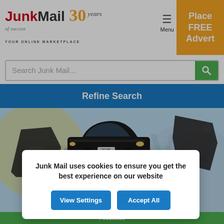[Figure (screenshot): JunkMail logo with '30 years of success' tagline, hamburger menu, and orange 'Place FREE Advert' button in the top header]
[Figure (screenshot): Search bar with placeholder 'Search Junk Mail...' and green search icon button]
[Figure (screenshot): Blue 'Refine Search' button bar]
[Figure (photo): Banner advertisement showing Mercedes Benz interior parts (door panel and trim piece) with a black Mercedes Benz sedan, text reads 'Mercedes Benz Interior' on a light blue background with VW watermark]
MB
Co
[Figure (screenshot): Cookie consent modal: 'Junk Mail uses cookies to ensure you get the best experience on our website' with 'View Settings' and 'Accept All' buttons]
Feedback